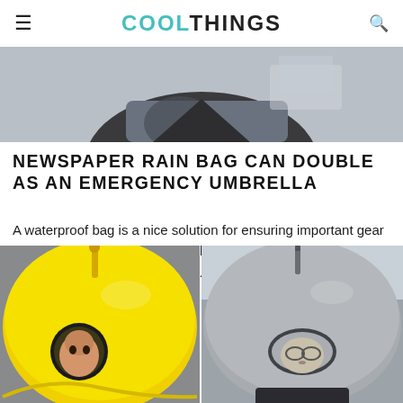COOLTHINGS
[Figure (photo): Partial top photo showing a person in a dark setting, cropped at top of article]
NEWSPAPER RAIN BAG CAN DOUBLE AS AN EMERGENCY UMBRELLA
A waterproof bag is a nice solution for ensuring important gear doesn't get wet.  And when the liquid-repelling bag is as wide as a broadsheet, like this News...  READ MORE...
[Figure (photo): Yellow umbrella shaped like a character helmet with antenna, person peeking through circular opening]
[Figure (photo): Grey umbrella shaped like a character helmet with antenna and oval eye opening, person underneath]